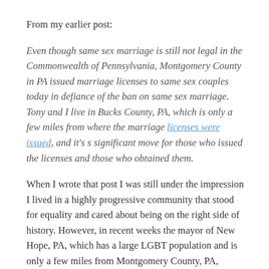From my earlier post:
Even though same sex marriage is still not legal in the Commonwealth of Pennsylvania, Montgomery County in PA issued marriage licenses to same sex couples today in defiance of the ban on same sex marriage. Tony and I live in Bucks County, PA, which is only a few miles from where the marriage licenses were issued, and it's s significant move for those who issued the licenses and those who obtained them.
When I wrote that post I was still under the impression I lived in a highly progressive community that stood for equality and cared about being on the right side of history. However, in recent weeks the mayor of New Hope, PA, which has a large LGBT population and is only a few miles from Montgomery County, PA, decided to refuse marriage